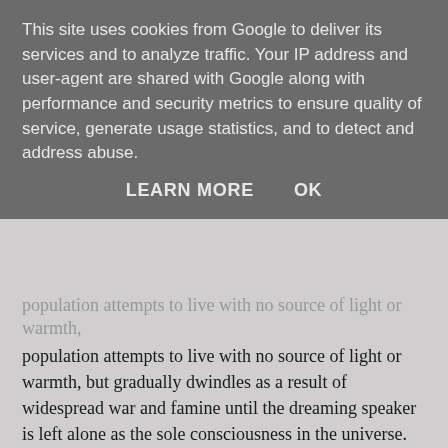This site uses cookies from Google to deliver its services and to analyze traffic. Your IP address and user-agent are shared with Google along with performance and security metrics to ensure quality of service, generate usage statistics, and to detect and address abuse.
LEARN MORE   OK
population attempts to live with no source of light or warmth, but gradually dwindles as a result of widespread war and famine until the dreaming speaker is left alone as the sole consciousness in the universe.
Having received an array of rather baffled reviews in 1816, Darkness was largely forgotten for the following seven years, and it seemed that this poem was to go down in history as something of an anomaly. This all changed, however, with the publication in 1823 of a short poem by Thomas Campbell called The Last Man. In this evangelical text, the Last Man contentedly observes the end of the world, secure in his belief that that he will have a place in heaven following the apocalypse. Ignored by the majority of critics